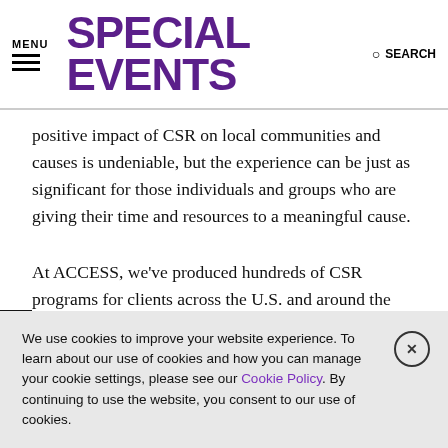MENU | SPECIAL EVENTS | SEARCH
positive impact of CSR on local communities and causes is undeniable, but the experience can be just as significant for those individuals and groups who are giving their time and resources to a meaningful cause.
At ACCESS, we've produced hundreds of CSR programs for clients across the U.S. and around the world. Together with our clients, we've designed and implemented CSR programs involving thousands of coworkers, colleagues, attendees and
We use cookies to improve your website experience. To learn about our use of cookies and how you can manage your cookie settings, please see our Cookie Policy. By continuing to use the website, you consent to our use of cookies.